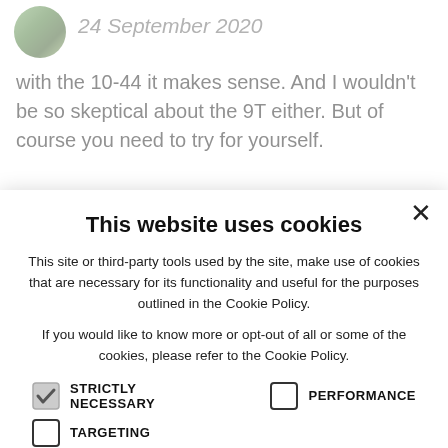24 September 2020
with the 10-44 it makes sense. And I wouldn't be so skeptical about the 9T either. But of course you need to try for yourself.
This website uses cookies
This site or third-party tools used by the site, make use of cookies that are necessary for its functionality and useful for the purposes outlined in the Cookie Policy.
If you would like to know more or opt-out of all or some of the cookies, please refer to the Cookie Policy.
STRICTLY NECESSARY (checked)
PERFORMANCE (unchecked)
TARGETING (unchecked)
ACCEPT ALL
DECLINE ALL
SHOW DETAILS